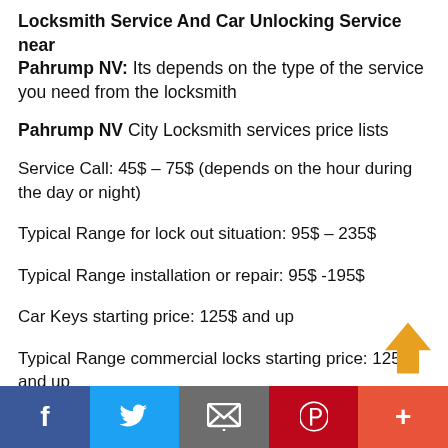Locksmith Service And Car Unlocking Service near Pahrump NV: Its depends on the type of the service you need from the locksmith
Pahrump NV City Locksmith services price lists
Service Call: 45$ – 75$ (depends on the hour during the day or night)
Typical Range for lock out situation: 95$ – 235$
Typical Range installation or repair: 95$ -195$
Car Keys starting price: 125$ and up
Typical Range commercial locks starting price: 125$ and up